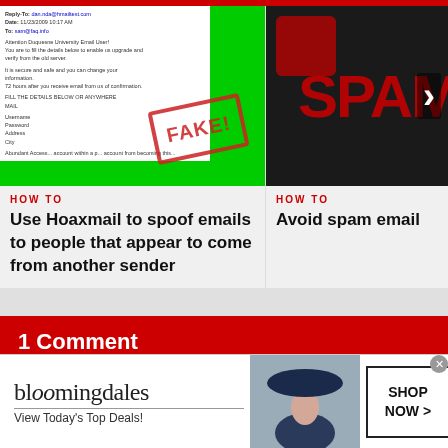[Figure (screenshot): Screenshot of a phishing email with green background and a red FAKE! stamp overlay]
HOW TO
Use Hoaxmail to spoof emails to people that appear to come from another sender
[Figure (photo): Dark image with large red SPAM text and a white arrow pointing right]
HOW TO
Avoid spam email
1 Comment
ALEX CHANG
2 YEARS AGO
[Figure (screenshot): Bloomingdale's advertisement banner: bloomingdales - View Today's Top Deals! - SHOP NOW >]